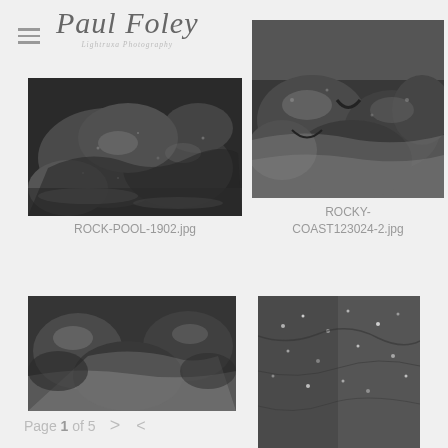Paul Foley Lightruxa Photography
[Figure (photo): Black and white close-up photograph of wet mossy rocks in a rock pool, ROCK-POOL-1902.jpg]
ROCK-POOL-1902.jpg
[Figure (photo): Black and white photograph of large boulders on a rocky coast with flowing water, ROCKY-COAST123024-2.jpg]
ROCKY-COAST123024-2.jpg
[Figure (photo): Black and white photograph of rocky stream with flowing water and moss-covered rocks]
[Figure (photo): Black and white close-up photograph of wet rock surface with water droplets and texture]
Page 1 of 5